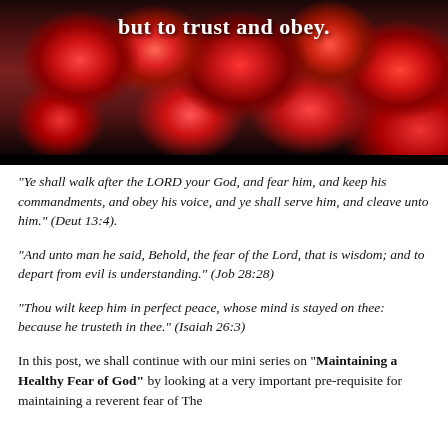[Figure (photo): Photo banner of red/pink flowers with overlaid bold white text reading 'but to trust and obey.' against a dark background]
“Ye shall walk after the LORD your God, and fear him, and keep his commandments, and obey his voice, and ye shall serve him, and cleave unto him.” (Deut 13:4).
“And unto man he said, Behold, the fear of the Lord, that is wisdom; and to depart from evil is understanding.” (Job 28:28)
“Thou wilt keep him in perfect peace, whose mind is stayed on thee: because he trusteth in thee.” (Isaiah 26:3)
In this post, we shall continue with our mini series on “Maintaining a Healthy Fear of God” by looking at a very important pre-requisite for maintaining a reverent fear of The